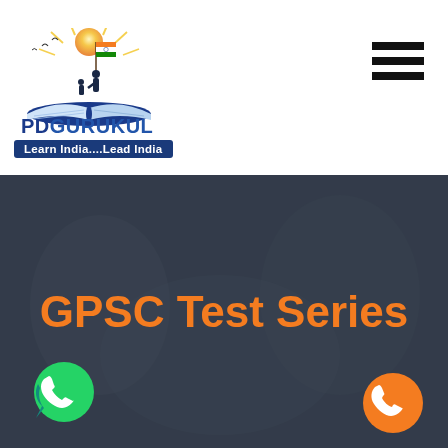[Figure (logo): PD Gurukul logo with sun rays, open book, and silhouette of person holding Indian flag with birds]
PD GURUKUL
Learn India....Lead India
[Figure (illustration): Hamburger menu icon — three horizontal black bars]
[Figure (photo): Background photo of students studying, overlaid with dark semi-transparent layer]
GPSC Test Series
[Figure (logo): WhatsApp green circular button with phone handset icon]
[Figure (logo): Orange circular phone call button with handset icon]